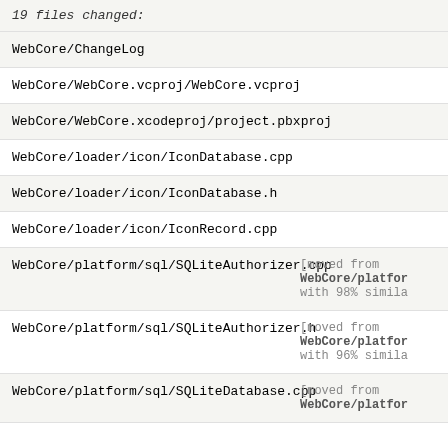19 files changed:
WebCore/ChangeLog
WebCore/WebCore.vcproj/WebCore.vcproj
WebCore/WebCore.xcodeproj/project.pbxproj
WebCore/loader/icon/IconDatabase.cpp
WebCore/loader/icon/IconDatabase.h
WebCore/loader/icon/IconRecord.cpp
WebCore/platform/sql/SQLiteAuthorizer.cpp [moved from WebCore/platfor with 98% simila
WebCore/platform/sql/SQLiteAuthorizer.h [moved from WebCore/platfor with 96% simila
WebCore/platform/sql/SQLiteDatabase.cpp [moved from WebCore/platfor